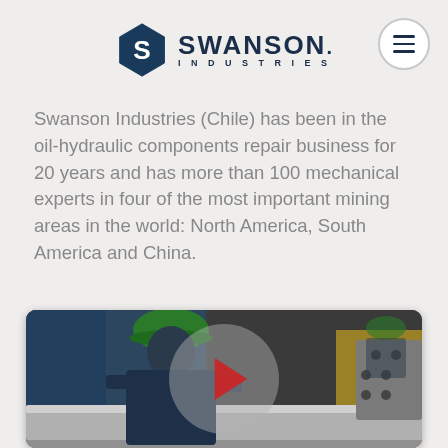[Figure (logo): Swanson Industries logo with hexagonal S emblem and company name]
Swanson Industries (Chile) has been in the oil-hydraulic components repair business for 20 years and has more than 100 mechanical experts in four of the most important mining areas in the world: North America, South America and China.
[Figure (photo): A worker in a green hard hat and blue coveralls working on industrial hydraulic equipment in a factory, with a video play button overlay in the center of the image]